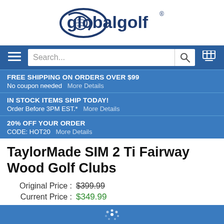[Figure (logo): GlobalGolf logo with golf ball and swoosh icon, dark navy blue text reading 'globalgolf' with registered trademark symbol]
[Figure (screenshot): Navigation bar with hamburger menu, search box reading 'Search...', search icon, and cart icon on dark blue background]
FREE SHIPPING ON ORDERS OVER $99
No coupon needed   More Details
IN STOCK ITEMS SHIP TODAY!
Order Before 3PM EST.*   More Details
20% OFF YOUR ORDER
CODE: HOT20   More Details
TaylorMade SIM 2 Ti Fairway Wood Golf Clubs
Original Price :  $399.99
Current Price :  $349.99
You Save :  $50.00 (13%)